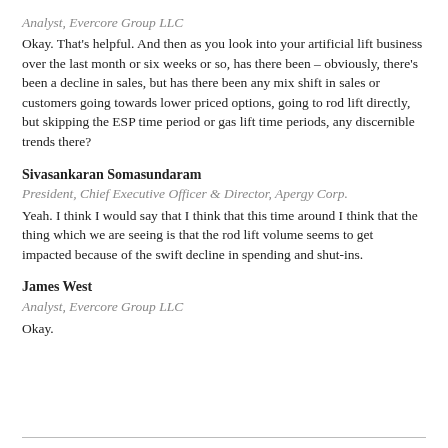Analyst, Evercore Group LLC
Okay. That's helpful. And then as you look into your artificial lift business over the last month or six weeks or so, has there been – obviously, there's been a decline in sales, but has there been any mix shift in sales or customers going towards lower priced options, going to rod lift directly, but skipping the ESP time period or gas lift time periods, any discernible trends there?
Sivasankaran Somasundaram
President, Chief Executive Officer & Director, Apergy Corp.
Yeah. I think I would say that I think that this time around I think that the thing which we are seeing is that the rod lift volume seems to get impacted because of the swift decline in spending and shut-ins.
James West
Analyst, Evercore Group LLC
Okay.